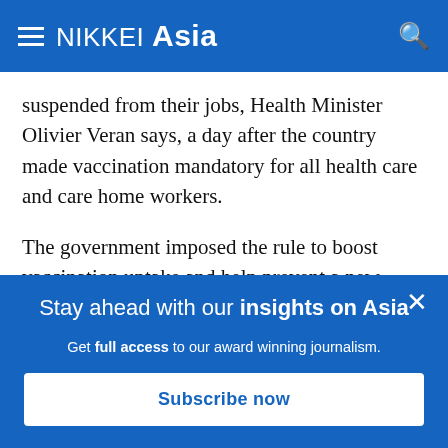NIKKEI Asia
suspended from their jobs, Health Minister Olivier Veran says, a day after the country made vaccination mandatory for all health care and care home workers.
The government imposed the rule to boost vaccination uptake and help prevent a new wave of infections in the autumn that might jeopardize France's economic
Stay ahead with our insights on Asia
Get full access to our award winning journalism.
Subscribe now